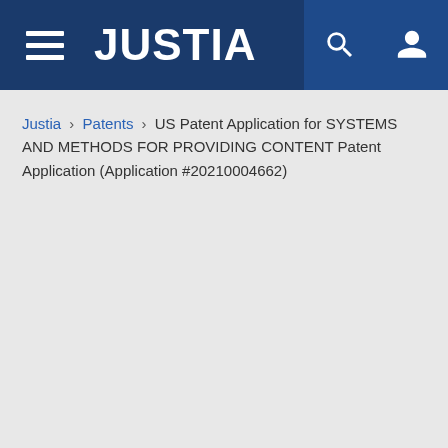JUSTIA
Justia › Patents › US Patent Application for SYSTEMS AND METHODS FOR PROVIDING CONTENT Patent Application (Application #20210004662)